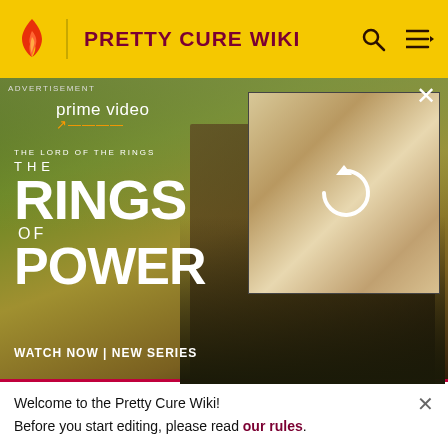PRETTY CURE WIKI
[Figure (photo): Advertisement for Amazon Prime Video 'The Lord of the Rings: The Rings of Power' series. Left side shows large title text 'THE RINGS OF POWER' with 'prime video' logo and 'WATCH NOW | NEW SERIES' text. Center shows two characters. Right side shows a secondary image with a reload/refresh icon overlay, depicting blonde characters.]
Categories
Community content is available under CC-BY-SA unless otherwise noted.
MORE PRETTY CURE WIKI
Welcome to the Pretty Cure Wiki! Before you start editing, please read our rules.